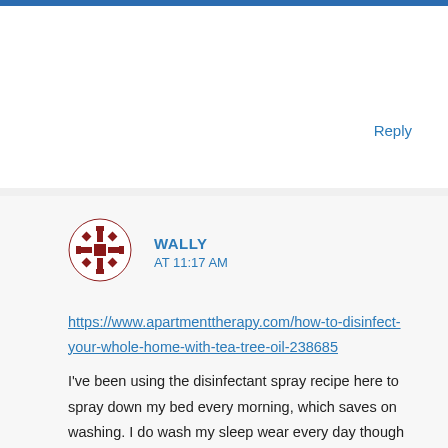Reply
WALLY
AT 11:17 AM
https://www.apartmenttherapy.com/how-to-disinfect-your-whole-home-with-tea-tree-oil-238685
I've been using the disinfectant spray recipe here to spray down my bed every morning, which saves on washing. I do wash my sleep wear every day though (which covers most of my body). Also by using a mixture of ground cloves and cheyanne pepper with tea tree, peppermint, and black castor oil mix applied to body after shower at night I've been dealing